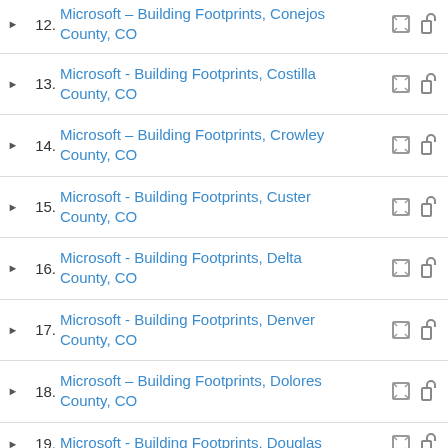12. Microsoft – Building Footprints, Conejos County, CO
13. Microsoft - Building Footprints, Costilla County, CO
14. Microsoft – Building Footprints, Crowley County, CO
15. Microsoft - Building Footprints, Custer County, CO
16. Microsoft - Building Footprints, Delta County, CO
17. Microsoft - Building Footprints, Denver County, CO
18. Microsoft – Building Footprints, Dolores County, CO
19. Microsoft - Building Footprints, Douglas County, CO